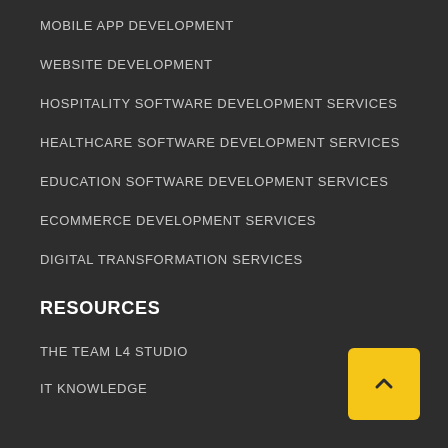MOBILE APP DEVELOPMENT
WEBSITE DEVELOPMENT
HOSPITALITY SOFTWARE DEVELOPMENT SERVICES
HEALTHCARE SOFTWARE DEVELOPMENT SERVICES
EDUCATION SOFTWARE DEVELOPMENT SERVICES
ECOMMERCE DEVELOPMENT SERVICES
DIGITAL TRANSFORMATION SERVICES
RESOURCES
THE TEAM L4 STUDIO
IT KNOWLEDGE